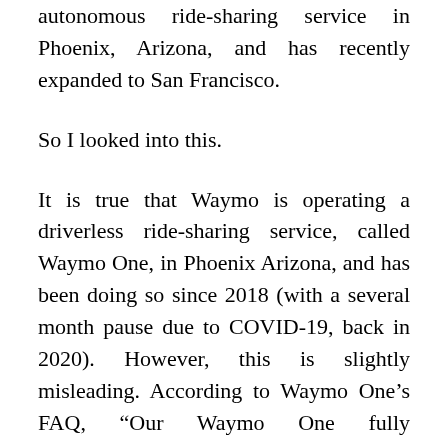autonomous ride-sharing service in Phoenix, Arizona, and has recently expanded to San Francisco.
So I looked into this.
It is true that Waymo is operating a driverless ride-sharing service, called Waymo One, in Phoenix Arizona, and has been doing so since 2018 (with a several month pause due to COVID-19, back in 2020). However, this is slightly misleading. According to Waymo One’s FAQ, “Our Waymo One fully autonomous ride-hailing service operates within parts of the Phoenix metropolitan area, including Chandler, Tempe, Mesa and Gilbert.”